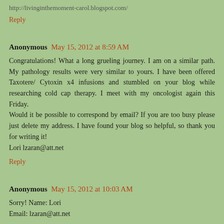http://livinginthemoment-carol.blogspot.com/
Reply
Anonymous May 15, 2012 at 8:59 AM
Congratulations! What a long grueling journey. I am on a similar path. My pathology results were very similar to yours. I have been offered Taxotere/ Cytoxin x4 infusions and stumbled on your blog while researching cold cap therapy. I meet with my oncologist again this Friday.
Would it be possible to correspond by email? If you are too busy please just delete my address. I have found your blog so helpful, so thank you for writing it!
Lori lzaran@att.net
Reply
Anonymous May 15, 2012 at 10:03 AM
Sorry! Name: Lori
Email: lzaran@att.net